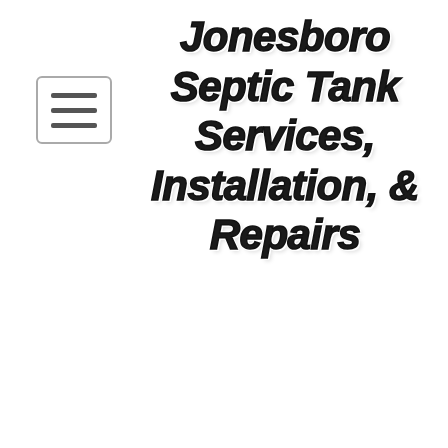[Figure (logo): Hamburger menu button icon with three horizontal lines inside a rounded rectangle border]
Jonesboro Septic Tank Services, Installation, & Repairs